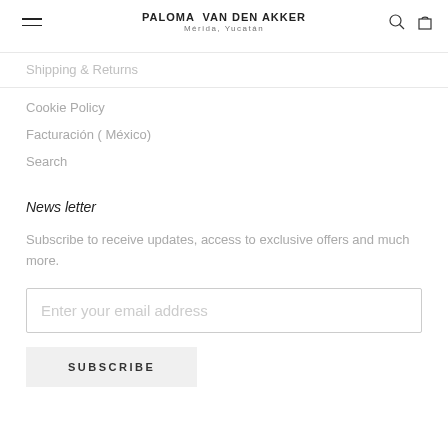PALOMA VAN DEN AKKER
Mérida, Yucatán
Shipping & Returns
Cookie Policy
Facturación ( México)
Search
News letter
Subscribe to receive updates, access to exclusive offers and much more.
Enter your email address
SUBSCRIBE